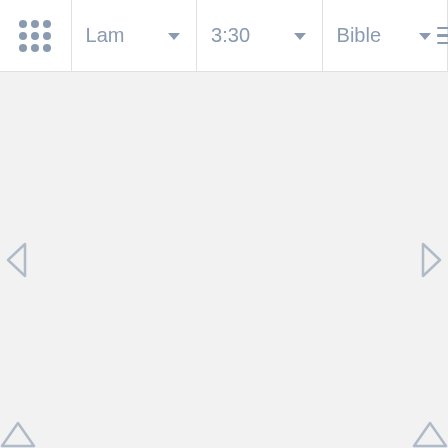[Figure (screenshot): Bible app navigation bar showing grid icon, book selector 'Lam' with chevron, verse selector '3:30' with chevron, translation selector 'Bible' with chevron, and hamburger menu icon. Below is a blank light gray content area with left and right navigation arrows on the sides, and two upward-pointing arrows at the bottom corners.]